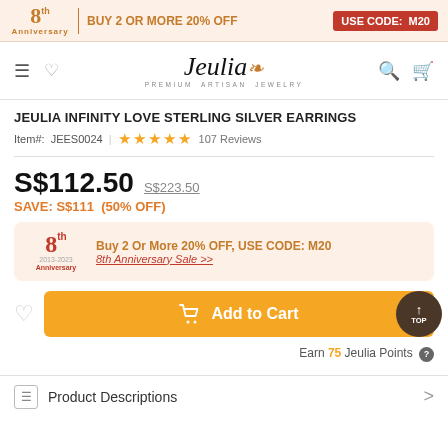8th Anniversary | BUY 2 OR MORE 20% OFF  USE CODE: M20
[Figure (logo): Jeulia Premium Artisan Jewelry logo with hamburger menu, heart, search and cart icons]
JEULIA INFINITY LOVE STERLING SILVER EARRINGS
Item#: JEES0024  ★★★★★  107 Reviews
S$112.50  S$223.50
SAVE: S$111  (50% OFF)
[Figure (infographic): 8th Anniversary promotional banner: Buy 2 Or More 20% OFF, USE CODE: M20 — 8th Anniversary Sale >>]
Add to Cart
Earn 75 Jeulia Points ?
Product Descriptions